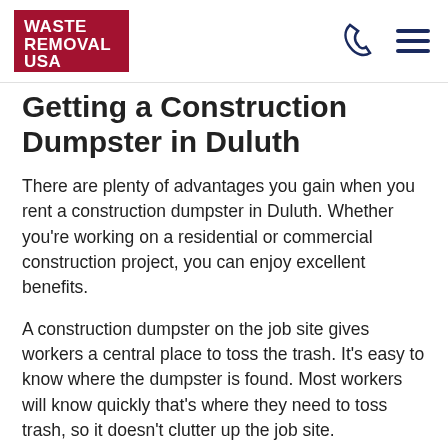WASTE REMOVAL USA
Getting a Construction Dumpster in Duluth
There are plenty of advantages you gain when you rent a construction dumpster in Duluth. Whether you're working on a residential or commercial construction project, you can enjoy excellent benefits.
A construction dumpster on the job site gives workers a central place to toss the trash. It's easy to know where the dumpster is found. Most workers will know quickly that's where they need to toss trash, so it doesn't clutter up the job site.
This will help to make your job site cleaner and safer. A clean and safe job site leads to higher productivity and fewer injuries.